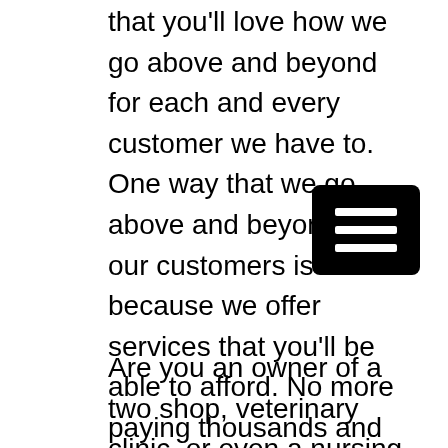that you'll love how we go above and beyond for each and every customer we have to. One way that we go above and beyond for our customers is because we offer services that you'll be able to afford. No more paying thousands and thousands of dollars for medical waste disposal. We are able to provide you with the regulated medical waste removal services that you need for a great price. Here at Green Country Medical Waste, you'll not be disappointed in the great services we can offer you.
[Figure (other): Hamburger menu icon — three horizontal white lines on a black rounded rectangle background]
Are you an owner of a two shop, veterinary clinic, or even a nursing home? Well, we know how expensive medical waste disposal can be